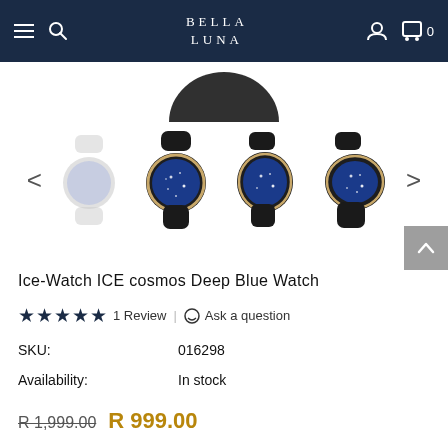BELLA LUNA — navigation bar with hamburger menu, search, user icon, cart (0)
[Figure (photo): Partial view of watch (cropped top) plus row of 4 watch thumbnails: 1 grey/white watch and 3 black watches with blue cosmos dials, flanked by left and right arrows]
Ice-Watch ICE cosmos Deep Blue Watch
★★★★★  1 Review | 💬 Ask a question
SKU:    016298
Availability:    In stock
R 1,999.00   R 999.00